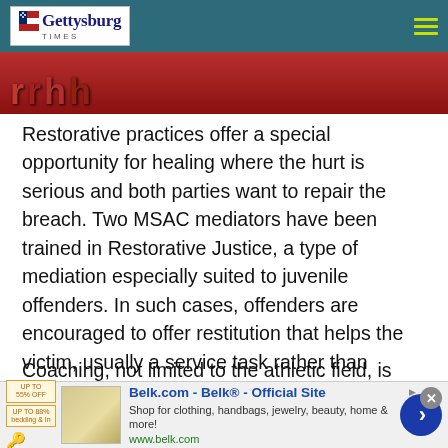Gettysburg Times
[Figure (photo): Partial view of people in red clothing, cropped at top]
Restorative practices offer a special opportunity for healing where the hurt is serious and both parties want to repair the breach. Two MSAC mediators have been trained in Restorative Justice, a type of mediation especially suited to juvenile offenders. In such cases, offenders are encouraged to offer restitution that helps the victim, usually a service task rather than money.
Coaching, not limited to the athletic field, is also something
9 remaining of 10
Welcome! We hope that you enjoy our free content
[Figure (screenshot): Belk.com advertisement - Belk® Official Site. Shop for clothing, handbags, jewelry, beauty, home & more! www.belk.com]